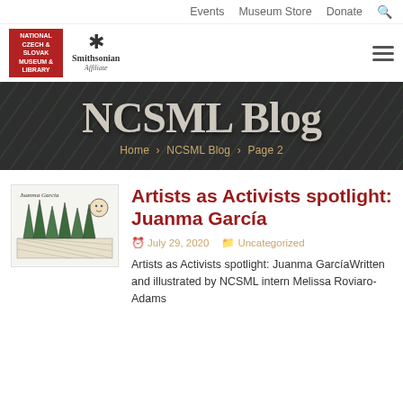Events  Museum Store  Donate
[Figure (logo): National Czech & Slovak Museum & Library logo (red box with white text) and Smithsonian Affiliate logo]
NCSML Blog
Home > NCSML Blog > Page 2
[Figure (illustration): Illustration of Juanma García artwork with trees and text 'Juanma García']
Artists as Activists spotlight: Juanma García
July 29, 2020   Uncategorized
Artists as Activists spotlight: Juanma GarcíaWritten and illustrated by NCSML intern Melissa Roviaro-Adams